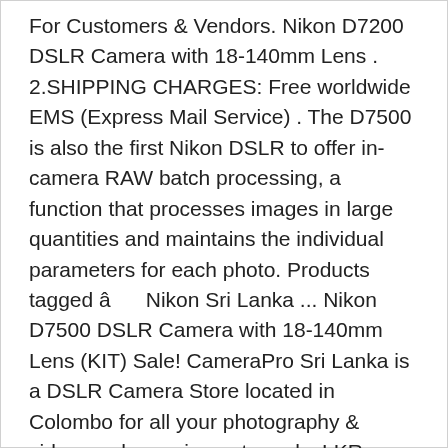For Customers & Vendors. Nikon D7200 DSLR Camera with 18-140mm Lens . 2.SHIPPING CHARGES: Free worldwide EMS (Express Mail Service) . The D7500 is also the first Nikon DSLR to offer in-camera RAW batch processing, a function that processes images in large quantities and maintains the individual parameters for each photo. Products tagged â Nikon Sri Lanka ... Nikon D7500 DSLR Camera with 18-140mm Lens (KIT) Sale! CameraPro Sri Lanka is a DSLR Camera Store located in Colombo for all your photography & videography equipment needs. LKR 199,500.00 LKR 215,000.00. Buy a brand new Nikon D5600 DSLR Camera with 18-140mm Lens online for the lowest price in Sri Lanka at MyDeal.lk. We have 37 Nikon D90 Cameras ads under For Sale category. Best price for Nikon D5200 was Rs.